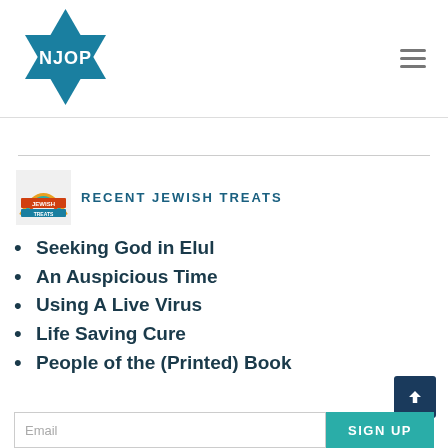[Figure (logo): NJOP logo — Star of David shape in teal/blue with white text 'NJOP' in the center]
RECENT JEWISH TREATS
Seeking God in Elul
An Auspicious Time
Using A Live Virus
Life Saving Cure
People of the (Printed) Book